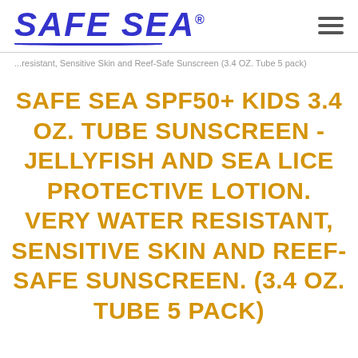SAFE SEA®
...resistant, Sensitive Skin and Reef-Safe Sunscreen (3.4 OZ. Tube 5 pack)
SAFE SEA SPF50+ KIDS 3.4 OZ. TUBE SUNSCREEN - JELLYFISH AND SEA LICE PROTECTIVE LOTION. VERY WATER RESISTANT, SENSITIVE SKIN AND REEF-SAFE SUNSCREEN. (3.4 OZ. TUBE 5 PACK)